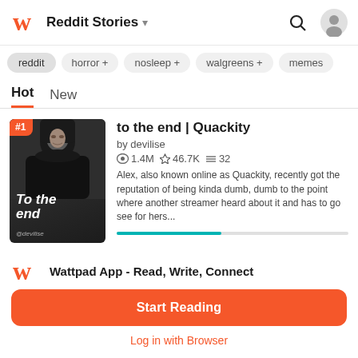Reddit Stories
reddit
horror +
nosleep +
walgreens +
memes
Hot   New
[Figure (illustration): Book cover for 'To the end' by devilise showing a person in a black hoodie against a dark background with large white italic text 'To the end' and watermark @devilise. Rank badge #1 in orange top left corner.]
to the end | Quackity
by devilise
1.4M ★46.7K≡32
Alex, also known online as Quackity, recently got the reputation of being kinda dumb, dumb to the point where another streamer heard about it and has to go see for hers...
Wattpad App - Read, Write, Connect
Start Reading
Log in with Browser